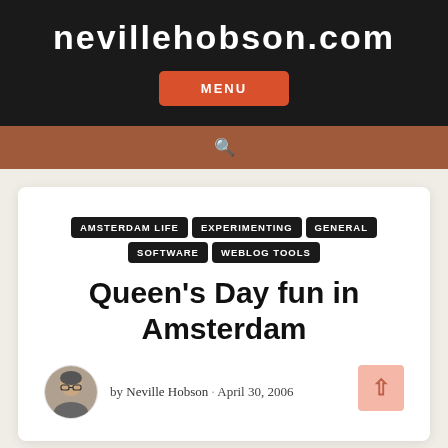nevillehobson.com
MENU
🔍
AMSTERDAM LIFE  EXPERIMENTING  GENERAL  SOFTWARE  WEBLOG TOOLS
Queen's Day fun in Amsterdam
by Neville Hobson · April 30, 2006